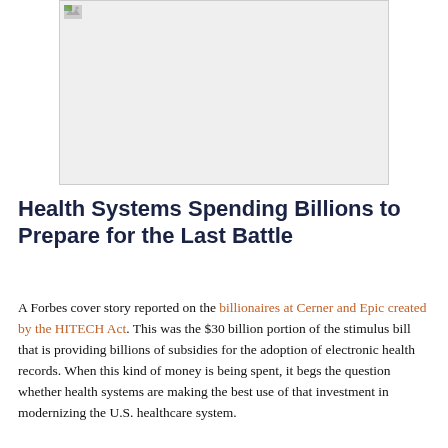[Figure (photo): A photograph or image placeholder shown at the top of the page, appears as a light grey rectangle with a broken image icon in the top-left corner.]
Health Systems Spending Billions to Prepare for the Last Battle
A Forbes cover story reported on the billionaires at Cerner and Epic created by the HITECH Act. This was the $30 billion portion of the stimulus bill that is providing billions of subsidies for the adoption of electronic health records. When this kind of money is being spent, it begs the question whether health systems are making the best use of that investment in modernizing the U.S. healthcare system.